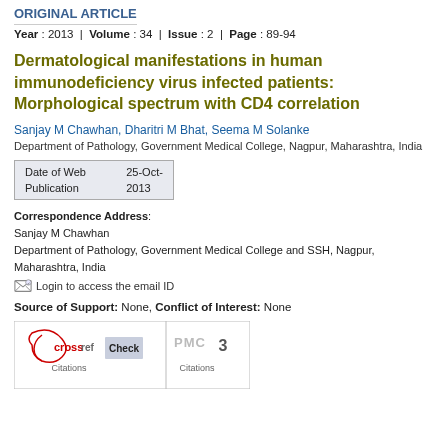ORIGINAL ARTICLE
Year : 2013  |  Volume : 34  |  Issue : 2  |  Page : 89-94
Dermatological manifestations in human immunodeficiency virus infected patients: Morphological spectrum with CD4 correlation
Sanjay M Chawhan, Dharitri M Bhat, Seema M Solanke
Department of Pathology, Government Medical College, Nagpur, Maharashtra, India
| Date of Web Publication | 25-Oct-2013 |
| --- | --- |
Correspondence Address:
Sanjay M Chawhan
Department of Pathology, Government Medical College and SSH, Nagpur, Maharashtra, India
Login to access the email ID
Source of Support: None, Conflict of Interest: None
[Figure (infographic): CrossRef Citations badge with Check button and PMC Citations badge showing 3 citations]